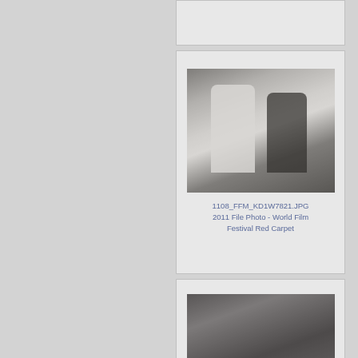[Figure (photo): Partial card visible at top of page - appears to be top of a card/thumbnail similar to others on page]
[Figure (photo): A man in a white suit and a woman in a black dress posing together on a red carpet at the World Film Festival]
1108_FFM_KD1W7821.JPG 2011 File Photo - World Film Festival Red Carpet
[Figure (photo): A group of people posing together on a red carpet at the World Film Festival]
1108_FFM_KD1W7806.JPG 2011 File Photo - World Film Festival Red...